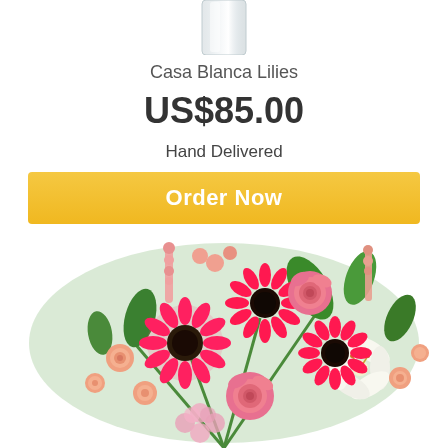[Figure (photo): Partial view of a glass vase at the top of the page, cropped at the top edge]
Casa Blanca Lilies
US$85.00
Hand Delivered
Order Now
[Figure (photo): A lush floral arrangement featuring hot pink gerbera daisies, pink roses, peach spray roses, white Casa Blanca lilies, pink snapdragons, and green foliage in a glass vase on a white background]